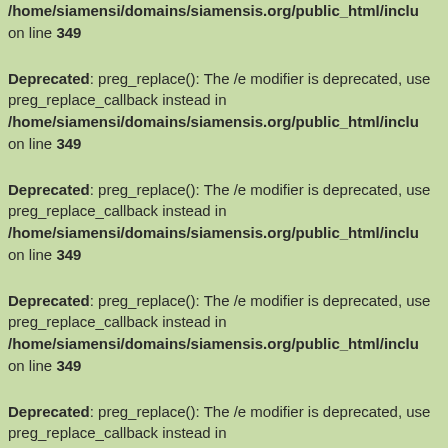/home/siamensi/domains/siamensis.org/public_html/inclu on line 349
Deprecated: preg_replace(): The /e modifier is deprecated, use preg_replace_callback instead in /home/siamensi/domains/siamensis.org/public_html/inclu on line 349
Deprecated: preg_replace(): The /e modifier is deprecated, use preg_replace_callback instead in /home/siamensi/domains/siamensis.org/public_html/inclu on line 349
Deprecated: preg_replace(): The /e modifier is deprecated, use preg_replace_callback instead in /home/siamensi/domains/siamensis.org/public_html/inclu on line 349
Deprecated: preg_replace(): The /e modifier is deprecated, use preg_replace_callback instead in /home/siamensi/domains/siamensis.org/public_html/inclu on line 349